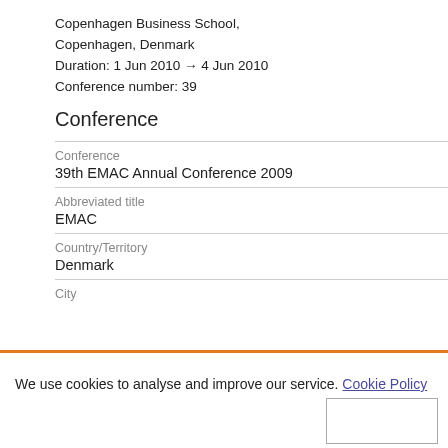Copenhagen Business School, Copenhagen, Denmark
Duration: 1 Jun 2010 → 4 Jun 2010
Conference number: 39
Conference
Conference
39th EMAC Annual Conference 2009
Abbreviated title
EMAC
Country/Territory
Denmark
City
We use cookies to analyse and improve our service. Cookie Policy